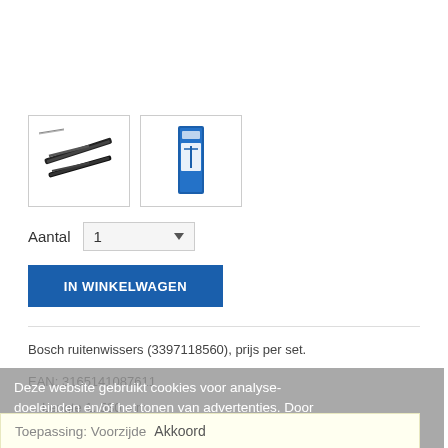[Figure (photo): Two product images: left shows wiper blades (diagonal), right shows packaged wiper blade in blue box]
Aantal  1 ▼
IN WINKELWAGEN
Bosch ruitenwissers (3397118560), prijs per set.
EAN: 3165141087611
Deze website gebruikt cookies voor analyse-doeleinden en/of het tonen van advertenties. Door gebruik te blijven maken van de site gaat u hiermee akkoord.
Lengte 1: 530 mm.
Lengte 2: 500 mm.
Toepassing: Voorzijde
Akkoord